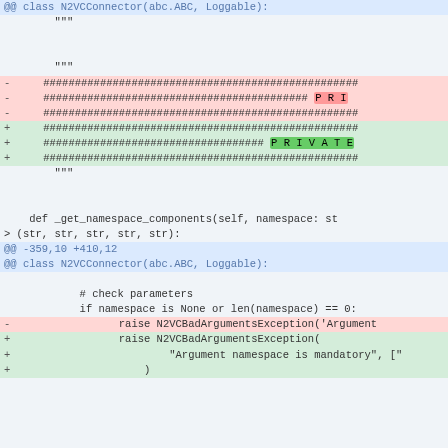[Figure (screenshot): A code diff showing changes to N2VCConnector class in Python. Shows removal of lines with 'PRI' suffix and addition of lines with 'PRIVATE' highlighted. Also shows a second diff hunk for _get_namespace_components method with changes to raise N2VCBadArgumentsException.]